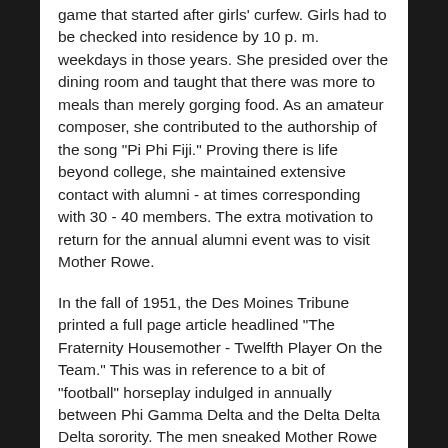game that started after girls' curfew. Girls had to be checked into residence by 10 p. m. weekdays in those years. She presided over the dining room and taught that there was more to meals than merely gorging food. As an amateur composer, she contributed to the authorship of the song "Pi Phi Fiji." Proving there is life beyond college, she maintained extensive contact with alumni - at times corresponding with 30 - 40 members. The extra motivation to return for the annual alumni event was to visit Mother Rowe.
In the fall of 1951, the Des Moines Tribune printed a full page article headlined "The Fraternity Housemother - Twelfth Player On the Team." This was in reference to a bit of "football" horseplay indulged in annually between Phi Gamma Delta and the Delta Delta Delta sorority. The men sneaked Mother Rowe into the game and her